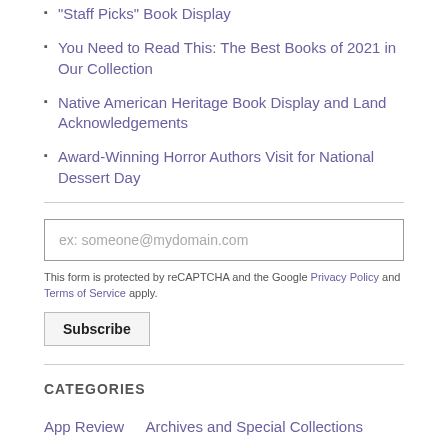"Staff Picks" Book Display
You Need to Read This: The Best Books of 2021 in Our Collection
Native American Heritage Book Display and Land Acknowledgements
Award-Winning Horror Authors Visit for National Dessert Day
ex: someone@mydomain.com
This form is protected by reCAPTCHA and the Google Privacy Policy and Terms of Service apply.
Subscribe
CATEGORIES
App Review   Archives and Special Collections   Articles   Book Review   Community Resources   Database Review   Display   Events   Holidays and Traditions   Hours   How-To   Library Resources   Library Services   Media   Meet the Staff